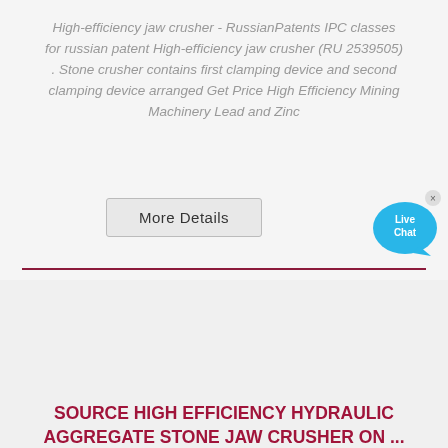High-efficiency jaw crusher - RussianPatents IPC classes for russian patent High-efficiency jaw crusher (RU 2539505) . Stone crusher contains first clamping device and second clamping device arranged Get Price High Efficiency Mining Machinery Lead and Zinc
[Figure (other): Button labeled 'More Details' with rounded rectangle border, grey background]
[Figure (other): Live Chat bubble icon in blue with 'Live Chat' text and an X close button]
[Figure (photo): Photograph of a large yellow industrial stone jaw crusher machine outdoors]
SOURCE HIGH EFFICIENCY HYDRAULIC AGGREGATE STONE JAW CRUSHER ON ...